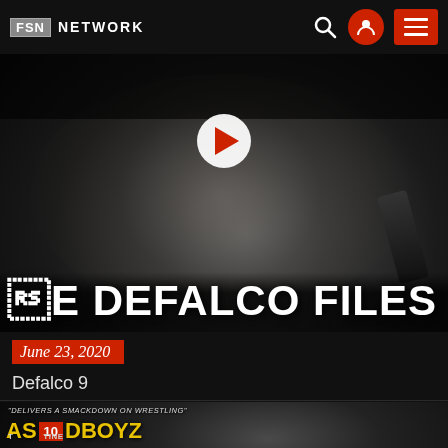FSN NETWORK
[Figure (screenshot): Video thumbnail showing a bearded man speaking into a microphone, close-up dark dramatic photo, with play button overlay and title 'THE DEFALCO FILES']
June 23, 2020
Defalco 9
[Figure (screenshot): Second video thumbnail showing a man's face close-up, with overlay text 'AS 10 DBOYZ' and tagline 'DELIVERS A SMACKDOWN ON WRESTLING']